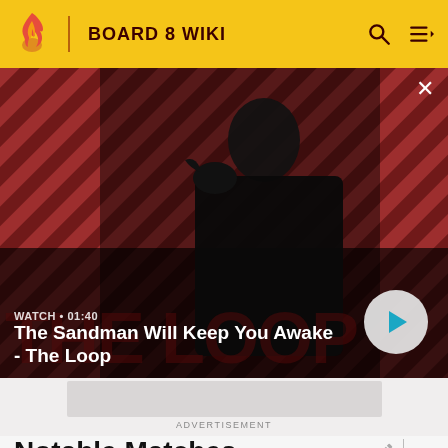BOARD 8 WIKI
[Figure (screenshot): Video thumbnail for 'The Sandman Will Keep You Awake - The Loop' with a dark-cloaked figure and a crow on a red/black striped background. Shows WATCH · 01:40 label and a play button.]
ADVERTISEMENT
Notable Matches
(7)Super Mario 64 vs (2)The Legend of Zelda: Ocarina